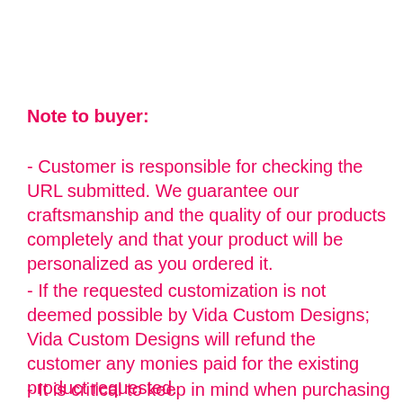Note to buyer:
- Customer is responsible for checking the URL submitted. We guarantee our craftsmanship and the quality of our products completely and that your product will be personalized as you ordered it.
- If the requested customization is not deemed possible by Vida Custom Designs; Vida Custom Designs will refund the customer any monies paid for the existing product requested.
- It is critical to keep in mind when purchasing personalized products that each piece is unique. No